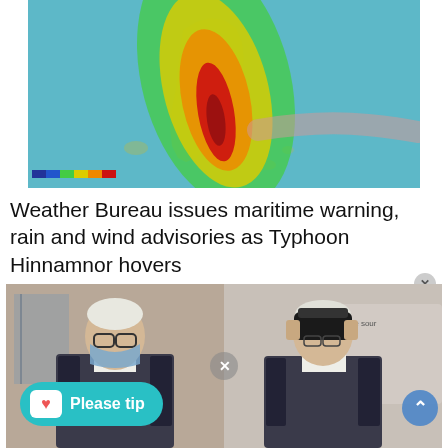[Figure (map): Weather/typhoon radar map showing Taiwan with typhoon Hinnamnor, color-coded intensity bands from green to yellow to orange to red centered over Taiwan, with a pink projected path extending to the right, set against a teal ocean background.]
Weather Bureau issues maritime warning, rain and wind advisories as Typhoon Hinnamnor hovers
[Figure (photo): Two elderly men side by side: left man wears a blue surgical mask and dark vest over white shirt; right man wears a black VR/AR headset and similar vest. A 'Please tip' Ko-fi button overlay appears at the bottom left, and an X dismiss button and blue up-arrow button appear overlaid.]